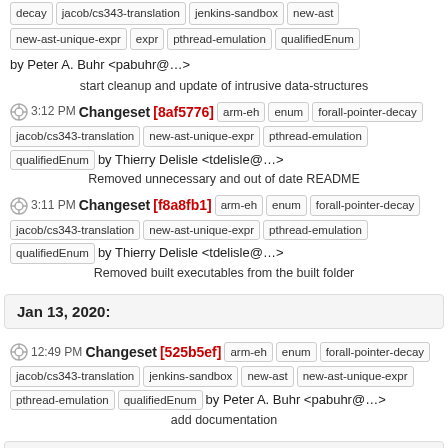decay jacob/cs343-translation jenkins-sandbox new-ast new-ast-unique-expr pthread-emulation qualifiedEnum by Peter A. Buhr <pabuhr@...>
start cleanup and update of intrusive data-structures
3:12 PM Changeset [8af5776] arm-eh enum forall-pointer-decay jacob/cs343-translation new-ast-unique-expr pthread-emulation qualifiedEnum by Thierry Delisle <tdelisle@...>
Removed unnecessary and out of date README
3:11 PM Changeset [f8a8fb1] arm-eh enum forall-pointer-decay jacob/cs343-translation new-ast-unique-expr pthread-emulation qualifiedEnum by Thierry Delisle <tdelisle@...>
Removed built executables from the built folder
Jan 13, 2020:
12:49 PM Changeset [525b5ef] arm-eh enum forall-pointer-decay jacob/cs343-translation jenkins-sandbox new-ast new-ast-unique-expr pthread-emulation qualifiedEnum by Peter A. Buhr <pabuhr@...>
add documentation
Jan 11, 2020:
9:50 AM Changeset [a21dec4] arm-eh enum forall-pointer-decay jacob/cs343-translation jenkins-sandbox new-ast new-ast-unique-expr